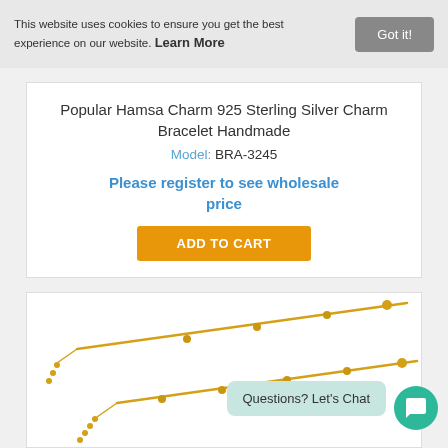This website uses cookies to ensure you get the best experience on our website. Learn More
Popular Hamsa Charm 925 Sterling Silver Charm Bracelet Handmade
Model: BRA-3245
Please register to see wholesale price
ADD TO CART
[Figure (photo): Gold bracelet product photo showing two chain bracelets with bead accents on white background]
Questions? Let's Chat